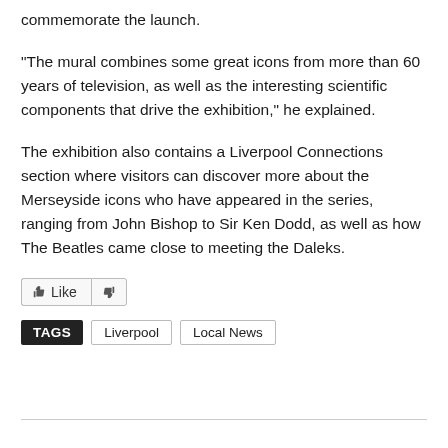commemorate the launch.
"The mural combines some great icons from more than 60 years of television, as well as the interesting scientific components that drive the exhibition," he explained.
The exhibition also contains a Liverpool Connections section where visitors can discover more about the Merseyside icons who have appeared in the series, ranging from John Bishop to Sir Ken Dodd, as well as how The Beatles came close to meeting the Daleks.
[Figure (other): Like and dislike buttons]
TAGS   Liverpool   Local News